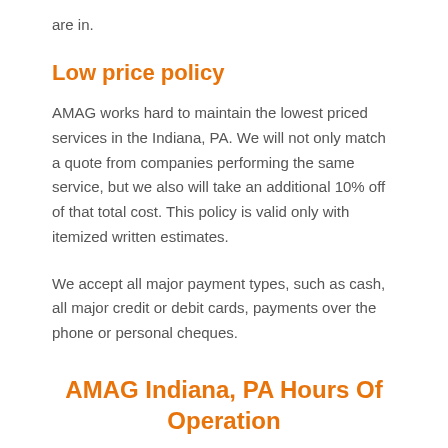are in.
Low price policy
AMAG works hard to maintain the lowest priced services in the Indiana, PA. We will not only match a quote from companies performing the same service, but we also will take an additional 10% off of that total cost. This policy is valid only with itemized written estimates.
We accept all major payment types, such as cash, all major credit or debit cards, payments over the phone or personal cheques.
AMAG Indiana, PA Hours Of Operation